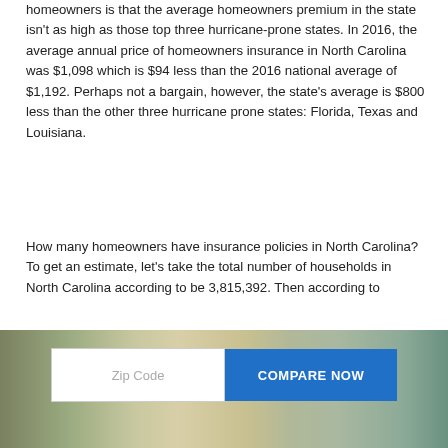homeowners is that the average homeowners premium in the state isn't as high as those top three hurricane-prone states. In 2016, the average annual price of homeowners insurance in North Carolina was $1,098 which is $94 less than the 2016 national average of $1,192. Perhaps not a bargain, however, the state's average is $800 less than the other three hurricane prone states: Florida, Texas and Louisiana.
How many homeowners have insurance policies in North Carolina? To get an estimate, let's take the total number of households in North Carolina according to be 3,815,392. Then according to
[Figure (photo): Photo of a kitchen/dining area interior with a white input field labeled 'Zip Code' and a blue 'COMPARE NOW' button overlaid on top.]